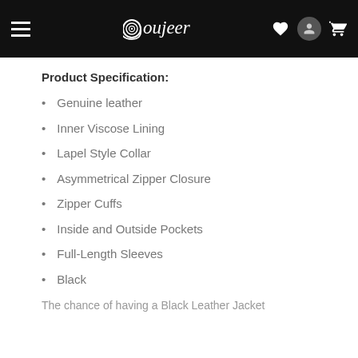Oujeer — navigation header with hamburger menu, logo, heart, user, and cart icons
Product Specification:
Genuine leather
Inner Viscose Lining
Lapel Style Collar
Asymmetrical Zipper Closure
Zipper Cuffs
Inside and Outside Pockets
Full-Length Sleeves
Black
The chance of having a Black Leather Jacket